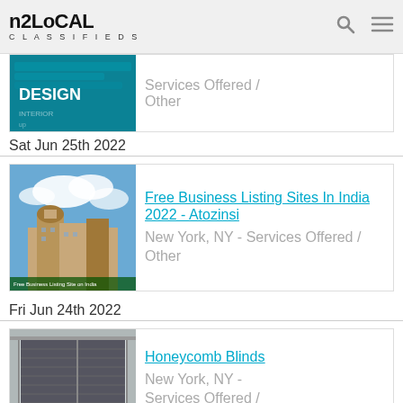n2local CLASSIFIEDS
[Figure (screenshot): Partial listing thumbnail showing teal/green background with text INTERIOR DESIGN]
Services Offered / Other
Sat Jun 25th 2022
[Figure (photo): Thumbnail image of a city with Indian architecture under blue sky with clouds, labeled Free Business Listing Site on India]
Free Business Listing Sites In India 2022 - Atozinsi
New York, NY - Services Offered / Other
Fri Jun 24th 2022
[Figure (photo): Thumbnail image of honeycomb blinds on windows]
Honeycomb Blinds
New York, NY - Services Offered / Other